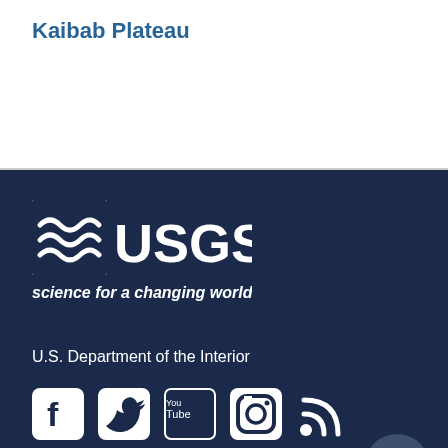Kaibab Plateau
[Figure (logo): USGS logo with wave symbol and text 'science for a changing world']
U.S. Department of the Interior
[Figure (infographic): Social media icons: Facebook, Twitter, YouTube, Instagram, RSS feed]
Contact USGS
1-888-ASK-USGS
answers.usgs.gov